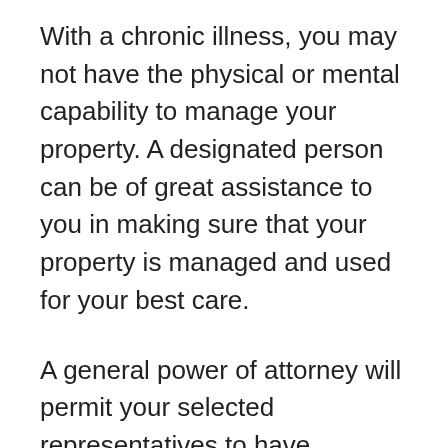With a chronic illness, you may not have the physical or mental capability to manage your property. A designated person can be of great assistance to you in making sure that your property is managed and used for your best care.
A general power of attorney will permit your selected representatives to have complete control over all of your financial affairs. It is quite powerful, but must also be granted carefully so that the person uses that